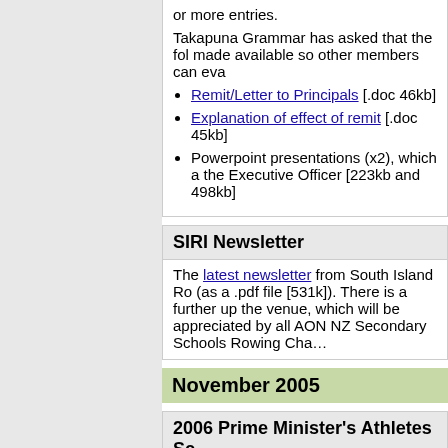or more entries.
Takapuna Grammar has asked that the following documents be made available so other members can evaluate the remit:
Remit/Letter to Principals [.doc 46kb]
Explanation of effect of remit [.doc 45kb]
Powerpoint presentations (x2), which are available from the Executive Officer [223kb and 498kb]
SIRI Newsletter
The latest newsletter from South Island Rowing (as a .pdf file [531k]). There is a further update on the venue, which will be appreciated by all attendees at AON NZ Secondary Schools Rowing Cha…
November 2005
2006 Prime Minister's Athletes Sc…
The guidelines for the 2006 Prime Minister… have been released. Scholarships are ava… Performance rowers in all categories…